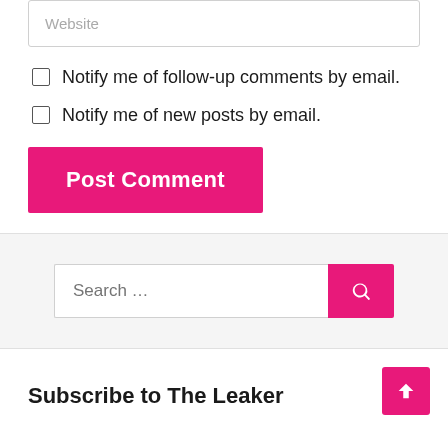Website
Notify me of follow-up comments by email.
Notify me of new posts by email.
Post Comment
Search …
Subscribe to The Leaker